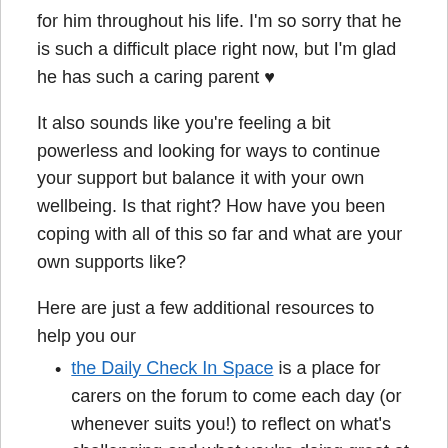for him throughout his life. I'm so sorry that he is such a difficult place right now, but I'm glad he has such a caring parent ♥
It also sounds like you're feeling a bit powerless and looking for ways to continue your support but balance it with your own wellbeing. Is that right? How have you been coping with all of this so far and what are your own supports like?
Here are just a few additional resources to help you our
the Daily Check In Space is a place for carers on the forum to come each day (or whenever suits you!) to reflect on what's challenging and what you're doing great at